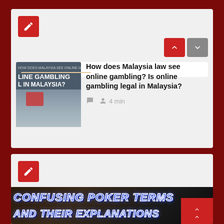[Figure (screenshot): Card 1: Article card with pencil icon, up/down navigation arrows, article about online gambling in Malaysia with thumbnail image]
How does Malaysia law see online gambling? Is online gambling legal in Malaysia?
4 min
[Figure (screenshot): Card 2: Article card with pencil icon and poker terms image showing 'CONFUSING POKER TERMS AND THEIR EXPLANATIONS']